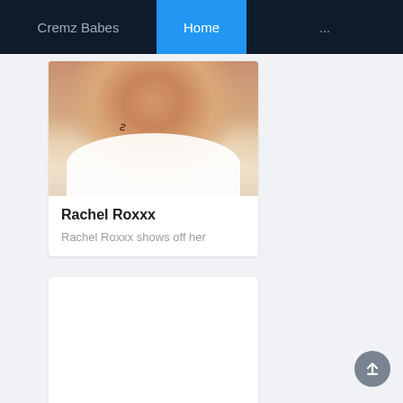Cremz Babes | Home | ...
Rachel Roxxx
Rachel Roxxx shows off her
[Figure (photo): Partial body photo showing midriff area with white towel/cloth and a tattoo]
[Figure (photo): Second content card, blank/loading white area]